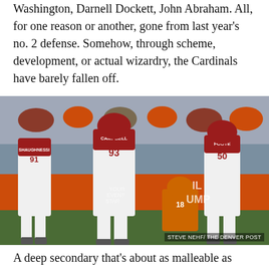Washington, Darnell Dockett, John Abraham. All, for one reason or another, gone from last year's no. 2 defense. Somehow, through scheme, development, or actual wizardry, the Cardinals have barely fallen off.
[Figure (photo): NFL football game action photo showing Arizona Cardinals players in white uniforms (numbers 91 SHAUGHNESSI and 93 CAMPBELL) and a player numbered 50 FOOTE, with a Denver Broncos player in orange uniform being tackled. Crowd and orange advertising boards visible in background. Photo credit: STEVE NEHF/THE DENVER POST]
A deep secondary that's about as malleable as Silly Putty has